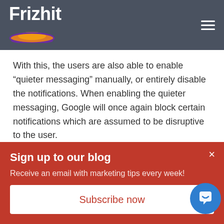Frizhit
With this, the users are also able to enable “quieter messaging” manually, or entirely disable the notifications. When enabling the quieter messaging, Google will once again block certain notifications which are assumed to be disruptive to the user.
The New Chrome User Experience
Sign up to our blog
Receive an email with marketing tips every week!
Subscribe now